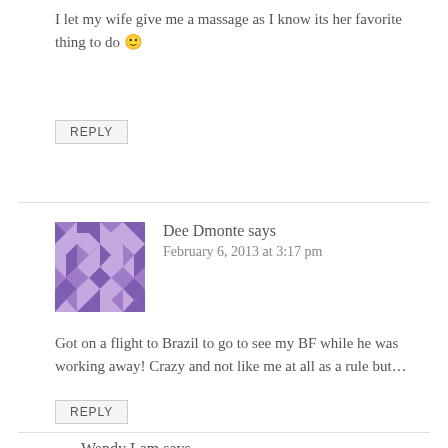I let my wife give me a massage as I know its her favorite thing to do 🙂
REPLY
Dee Dmonte says
February 6, 2013 at 3:17 pm
Got on a flight to Brazil to go to see my BF while he was working away! Crazy and not like me at all as a rule but…
REPLY
Wendy Lam says